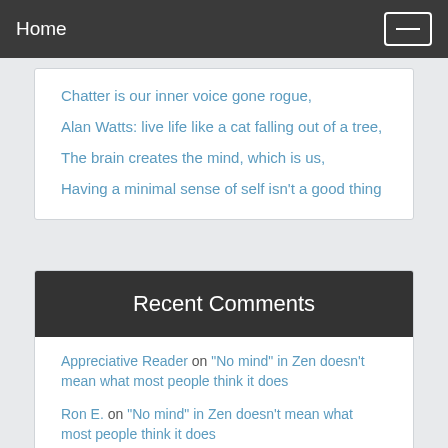Home
Chatter is our inner voice gone rogue,
Alan Watts: live life like a cat falling out of a tree,
The brain creates the mind, which is us,
Having a minimal sense of self isn't a good thing
Recent Comments
Appreciative Reader on "No mind" in Zen doesn't mean what most people think it does
Ron E. on "No mind" in Zen doesn't mean what most people think it does
Dungeness on Science says about dark energy: "So...